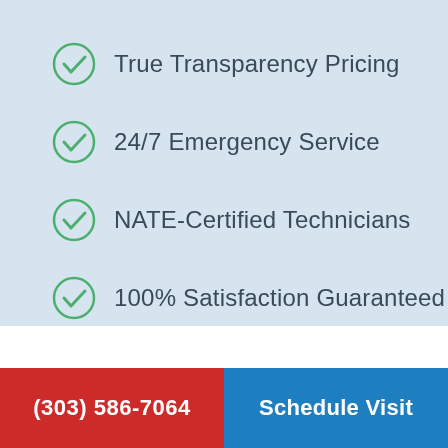True Transparency Pricing
24/7 Emergency Service
NATE-Certified Technicians
100% Satisfaction Guaranteed
(303) 586-7064   Schedule Visit